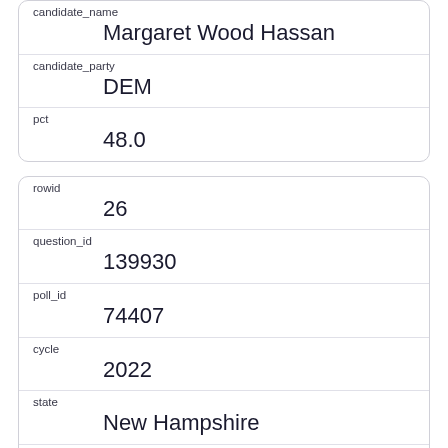| candidate_name | Margaret Wood Hassan |
| candidate_party | DEM |
| pct | 48.0 |
| rowid | 26 |
| question_id | 139930 |
| poll_id | 74407 |
| cycle | 2022 |
| state | New Hampshire |
| pollster_id | 525 |
| pollster | University of New Hampshire |